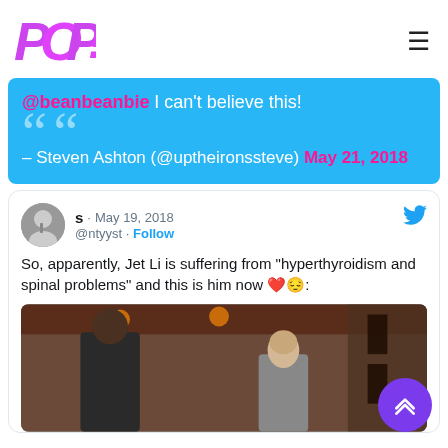[Figure (logo): POP! logo in purple/pink gradient italic bold text]
@beanbeanbie I can't believe this! — Steven Ashton (@uptheironssteve) May 21, 2018
[Figure (screenshot): Embedded tweet from @ntyyst dated May 19, 2018 with Follow link and Twitter bird icon. Text: So, apparently, Jet Li is suffering from "hyperthyroidism and spinal problems" and this is him now ❤️😔:. Below is a photo of Jet Li with another person.]
[Figure (photo): Photo of Jet Li with another person in front of a building]